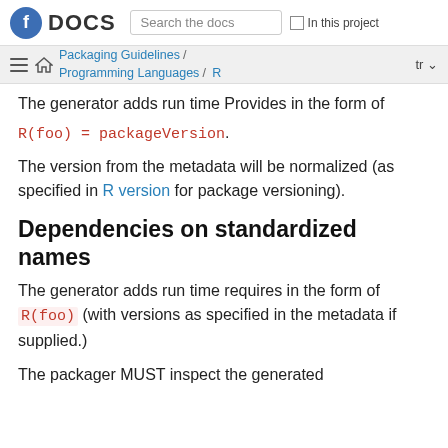Fedora DOCS — Search the docs — In this project
Packaging Guidelines / Programming Languages / R  tr
The generator adds run time Provides in the form of R(foo) = packageVersion.
The version from the metadata will be normalized (as specified in R version for package versioning).
Dependencies on standardized names
The generator adds run time requires in the form of R(foo) (with versions as specified in the metadata if supplied.)
The packager MUST inspect the generated